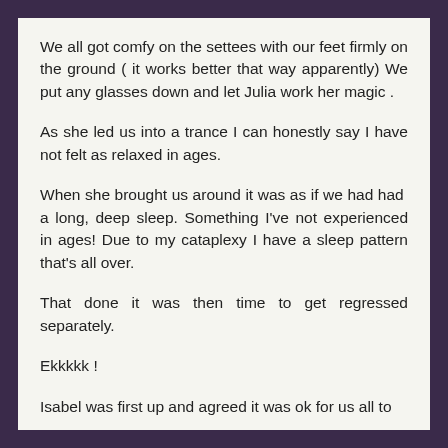We all got comfy on the settees with our feet firmly on the ground ( it works better that way apparently) We put any glasses down and let Julia work her magic .
As she led us into a trance I can honestly say I have not felt as relaxed in ages.
When she brought us around it was as if we had had a long, deep sleep. Something I've not experienced in ages! Due to my cataplexy I have a sleep pattern that's all over.
That done it was then time to get regressed separately.
Ekkkkk !
Isabel was first up and agreed it was ok for us all to